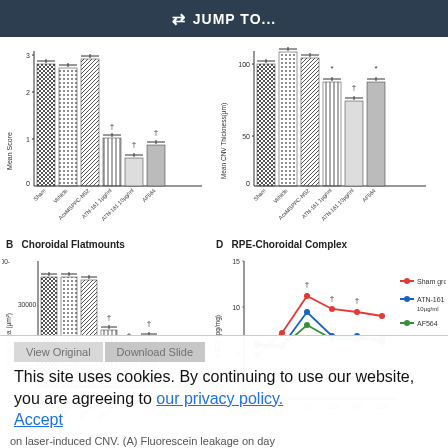JUMP TO...
[Figure (bar-chart): Mean Score (Fluorescein leakage)]
[Figure (bar-chart): Mean CNV Thickness (µm)]
B   Choroidal Flatmounts
D   RPE-Choroidal Complex
[Figure (bar-chart): Mean CNV area (µm²)]
[Figure (line-chart): VEGF (pg/mg) over time - RPE-Choroidal Complex]
This site uses cookies. By continuing to use our website, you are agreeing to our privacy policy.
Accept
on laser-induced CNV. (A) Fluorescein leakage on day